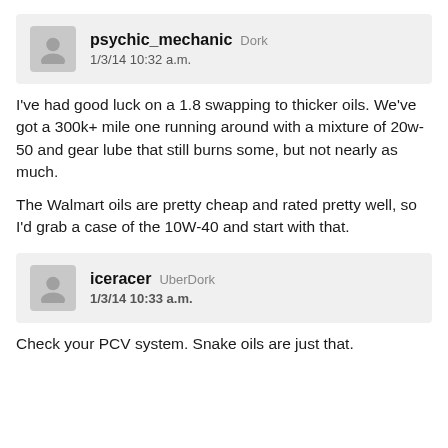psychic_mechanic Dork 1/3/14 10:32 a.m.
I've had good luck on a 1.8 swapping to thicker oils. We've got a 300k+ mile one running around with a mixture of 20w-50 and gear lube that still burns some, but not nearly as much.

The Walmart oils are pretty cheap and rated pretty well, so I'd grab a case of the 10W-40 and start with that.
iceracer UberDork 1/3/14 10:33 a.m.
Check your PCV system. Snake oils are just that.